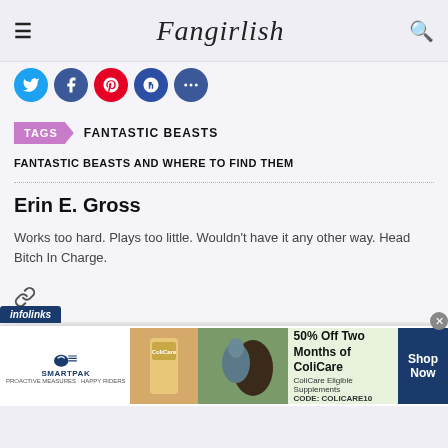Fangirlish
[Figure (infographic): Social share icons: Twitter (blue), Facebook (dark blue), Pinterest (red), Google+ (dark blue), More (dark blue)]
TAGS  FANTASTIC BEASTS
FANTASTIC BEASTS AND WHERE TO FIND THEM
Erin E. Gross
Works too hard. Plays too little. Wouldn't have it any other way. Head Bitch In Charge.
Share This
[Figure (infographic): Advertisement: SmartPak - 50% Off Two Months of ColiCare. ColiCare Eligible Supplements CODE: COLICARE10. Shop Now.]